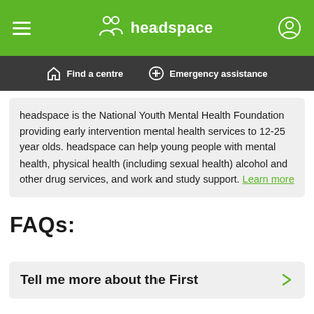headspace
Find a centre   Emergency assistance
headspace is the National Youth Mental Health Foundation providing early intervention mental health services to 12-25 year olds. headspace can help young people with mental health, physical health (including sexual health) alcohol and other drug services, and work and study support. Learn more
FAQs:
Tell me more about the First